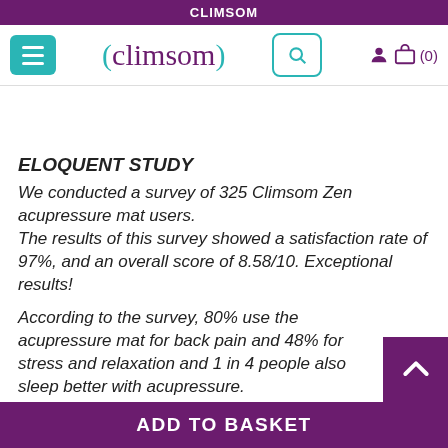CLIMSOM
[Figure (screenshot): Climsom website navigation header with hamburger menu, logo, search button, user icon and cart (0)]
ELOQUENT STUDY
We conducted a survey of 325 Climsom Zen acupressure mat users. The results of this survey showed a satisfaction rate of 97%, and an overall score of 8.58/10. Exceptional results!
According to the survey, 80% use the acupressure mat for back pain and 48% for stress and relaxation and 1 in 4 people also sleep better with acupressure. The benefits appear after the very first session or after
ADD TO BASKET